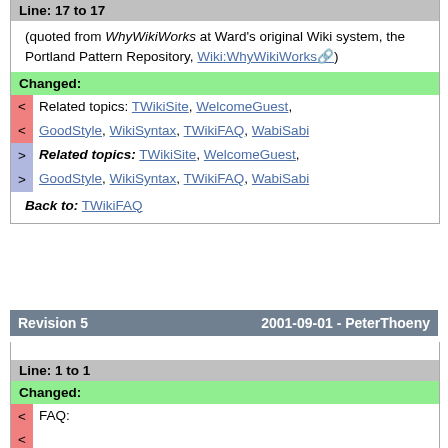Line: 17 to 17
(quoted from WhyWikiWorks at Ward's original Wiki system, the Portland Pattern Repository, Wiki:WhyWikiWorks)
Changed:
< Related topics: TWikiSite, WelcomeGuest, GoodStyle, WikiSyntax, TWikiFAQ, WabiSabi
> Related topics: TWikiSite, WelcomeGuest, GoodStyle, WikiSyntax, TWikiFAQ, WabiSabi
Back to: TWikiFAQ
Revision 5    2001-09-01 - PeterThoeny
Line: 1 to 1
Changed:
< FAQ: